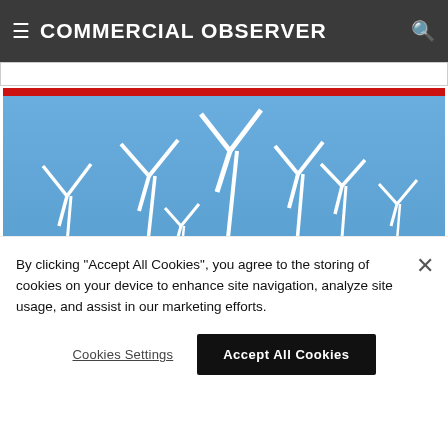COMMERCIAL OBSERVER
[Figure (photo): Wind farm with multiple large wind turbines along a flat highway road, with a red semi-truck visible. Blue sky background. Red bar accent at top of image.]
By clicking "Accept All Cookies", you agree to the storing of cookies on your device to enhance site navigation, analyze site usage, and assist in our marketing efforts.
Cookies Settings
Accept All Cookies